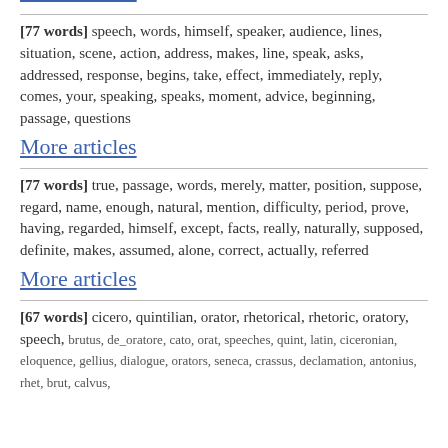More articles
[77 words] speech, words, himself, speaker, audience, lines, situation, scene, action, address, makes, line, speak, asks, addressed, response, begins, take, effect, immediately, reply, comes, your, speaking, speaks, moment, advice, beginning, passage, questions
More articles
[77 words] true, passage, words, merely, matter, position, suppose, regard, name, enough, natural, mention, difficulty, period, prove, having, regarded, himself, except, facts, really, naturally, supposed, definite, makes, assumed, alone, correct, actually, referred
More articles
[67 words] cicero, quintilian, orator, rhetorical, rhetoric, oratory, speech, brutus, de_oratore, cato, orat, speeches, quint, latin, ciceronian, eloquence, gellius, dialogue, orators, seneca, crassus, declamation, antonius, rhet, brut, calvus,